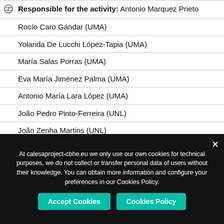Responsible for the activity: Antonio Marquez Prieto
Rocío Caro Gándar (UMA)
Yolanda De Lucchi López-Tapia (UMA)
María Salas Porras (UMA)
Eva María Jiménez Palma (UMA)
Antonio María Lara López (UMA)
João Pedro Pinto-Ferreira (UNL)
João Zenha Martins (UNL)
Rameles Benito (UDeusto)
At calesaproject-cbhe.eu we only use our own cookies for technical purposes, we do not collect or transfer personal data of users without their knowledge. You can obtain more information and configure your preferences in our Cookies Policy.